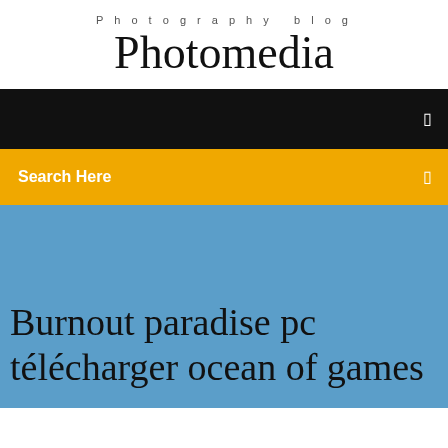Photography blog
Photomedia
[Figure (screenshot): Black navigation bar with a small icon on the right side]
[Figure (screenshot): Yellow/gold search bar with 'Search Here' text and a small icon on the right]
Burnout paradise pc télécharger ocean of games